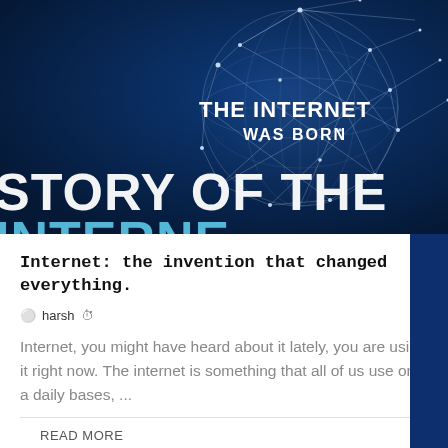[Figure (illustration): Dark blue background with a wireframe globe/network sphere made of white connecting lines and dots. Text overlaid: 'THE INTERNET WAS BORN' in white bold uppercase. Bottom left shows partial large text 'STORY OF THE INTERNE...' in white/teal large font, partially cut off.]
Internet: the invention that changed everything.
⚬ harsh ⊙
Internet, you might have heard about it lately, you are using it right now. The internet is something that all of us use on a daily bases, ...
READ MORE